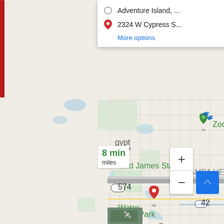[Figure (map): Google Maps screenshot showing a driving route in Tampa, FL from Adventure Island to 2324 W Cypress Street. The blue route goes south along a major road passing ZooTampa, Raymond James Stadium area, Water Works Park, with route markers and map labels including Egypt Lake-Leto, Tampa Heights, Hyde Park, Trader Joe's. Duration shown as 8 min, distance ~10.8 miles. Zoom controls visible bottom right.]